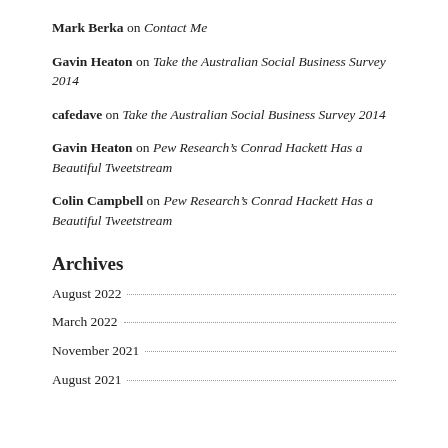Mark Berka on Contact Me
Gavin Heaton on Take the Australian Social Business Survey 2014
cafedave on Take the Australian Social Business Survey 2014
Gavin Heaton on Pew Research’s Conrad Hackett Has a Beautiful Tweetstream
Colin Campbell on Pew Research’s Conrad Hackett Has a Beautiful Tweetstream
Archives
August 2022
March 2022
November 2021
August 2021